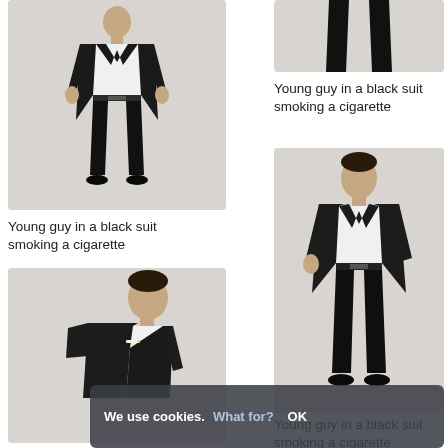[Figure (photo): Young man in black suit and white shirt, full body standing, hands slightly at sides, photographed against light gray background]
Young guy in a black suit smoking a cigarette
[Figure (photo): Close-up of legs and lower torso of man in black suit trousers, against light gray background]
Young guy in a black suit smoking a cigarette
[Figure (photo): Young man in black suit facing forward, hands in pockets, white shirt, photographed against light gray background]
[Figure (photo): Young man in black suit photographed from behind/side, turning head, cigarette visible, light gray background]
Young guy in a black suit smoking a cigarette
We use cookies. What for? OK